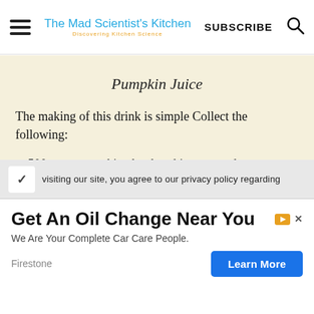The Mad Scientist's Kitchen | SUBSCRIBE
Pumpkin Juice
The making of this drink is simple Collect the following:
500 grms pumpkin chunks, skin removed
1 liters can apple juice
visiting our site, you agree to our privacy policy regarding
[Figure (infographic): Advertisement: Get An Oil Change Near You - We Are Your Complete Car Care People. Firestone. Learn More button.]